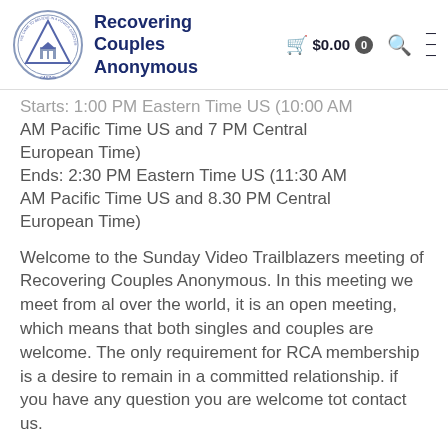Recovering Couples Anonymous | $0.00 0
Starts: 1:00 PM Eastern Time US (10:00 AM AM Pacific Time US and 7 PM Central European Time)
Ends: 2:30 PM Eastern Time US (11:30 AM AM Pacific Time US and 8.30 PM Central European Time)
Welcome to the Sunday Video Trailblazers meeting of Recovering Couples Anonymous. In this meeting we meet from al over the world, it is an open meeting, which means that both singles and couples are welcome. The only requirement for RCA membership is a desire to remain in a committed relationship. if you have any question you are welcome tot contact us.
The meeting ID and password are required in order for attendees to access the meeting. To